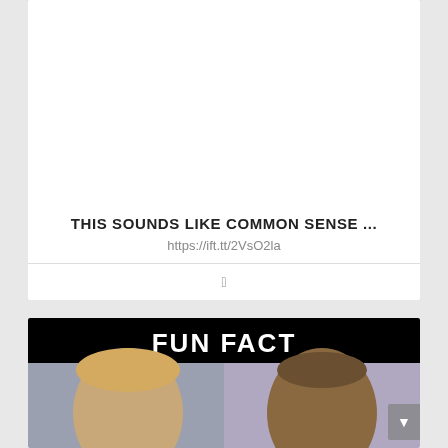THIS SOUNDS LIKE COMMON SENSE ...
https://ift.tt/2VsO2la
[Figure (photo): Meme image with black header reading FUN FACT and two side-by-side photos of political figures (Trump on left, Obama on right)]